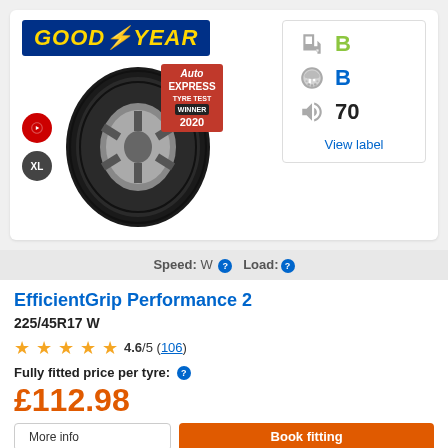[Figure (logo): Goodyear brand logo with yellow italic text on dark blue background]
[Figure (photo): Goodyear EfficientGrip Performance 2 tyre image with Auto Express Tyre Test Winner 2020 award badge, XL badge, and YouTube icon]
[Figure (infographic): EU tyre label ratings: fuel efficiency B (green), wet grip B (blue), noise 70 dB, with View label link]
Speed: W  Load:
EfficientGrip Performance 2
225/45R17 W
4.6/5 (106)
Fully fitted price per tyre:
£112.98